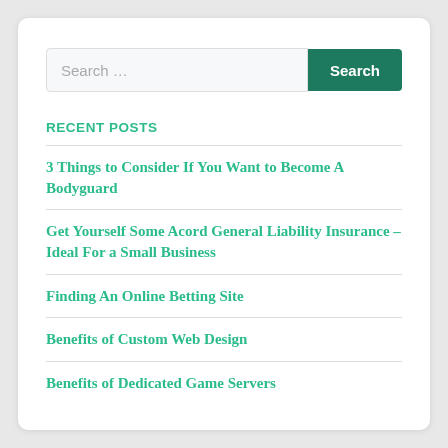RECENT POSTS
3 Things to Consider If You Want to Become A Bodyguard
Get Yourself Some Acord General Liability Insurance – Ideal For a Small Business
Finding An Online Betting Site
Benefits of Custom Web Design
Benefits of Dedicated Game Servers
RECENT COMMENTS